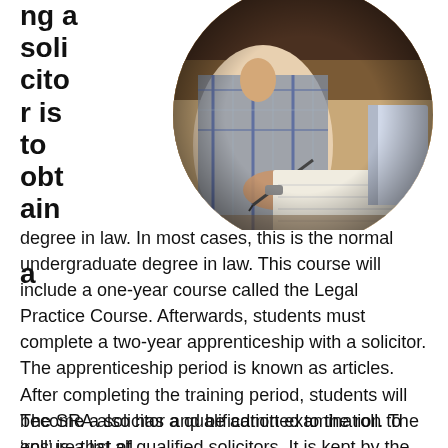[Figure (photo): Circular cropped photo of a person writing/studying at a desk with a notebook and papers, wearing a plaid or checkered top, photographed from chest level.]
ng a solicitor is to obtain a degree in law. In most cases, this is the normal undergraduate degree in law. This course will include a one-year course called the Legal Practice Course. Afterwards, students must complete a two-year apprenticeship with a solicitor. The apprenticeship period is known as articles. After completing the training period, students will become a solicitor and be admitted to the roll. The 'roll' is a list of qualified solicitors. It is kept by the Master of the Rolls, who is also the head of the Court of Appeal in England and Wales.
The SRA also has a qualification examination to ensure that all